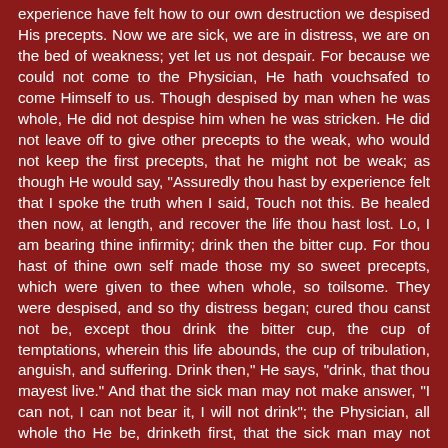experience have felt how to our own destruction we despised His precepts. Now we are sick, we are in distress, we are on the bed of weakness; yet let us not despair. For because we could not come to the Physician, He hath vouchsafed to come Himself to us. Though despised by man when he was whole, He did not despise him when he was stricken. He did not leave off to give other precepts to the weak, who would not keep the first precepts, that he might not be weak; as though He would say, "Assuredly thou hast by experience felt that I spoke the truth when I said, Touch not this. Be healed then now, at length, and recover the life thou hast lost. Lo, I am bearing thine infirmity; drink then the bitter cup. For thou hast of thine own self made those my so sweet precepts, which were given to thee when whole, so toilsome. They were despised, and so thy distress began; cured thou canst not be, except thou drink the bitter cup, the cup of temptations, wherein this life abounds, the cup of tribulation, anguish, and suffering. Drink then," He says, "drink, that thou mayest live." And that the sick man may not make answer, "I can not, I can not bear it, I will not drink"; the Physician, all whole tho He be, drinketh first, that the sick man may not hesitate to drink. For what bitterness is there in this cup which He hath not drunk? If it be contumely, He heard it first when He drove out the devils. "He hath a devil, and by Beelzebub He casteth out devils." Whereupon, in order to comfort the sick, He saith, "If they have called the Master of the house Beelzebub, how much more shall they call them of His household?" If pains are this bitter cup, He was bound, and scourged, and crucified. If death be this bitter